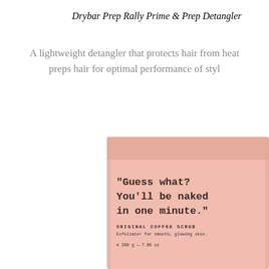Drybar Prep Rally Prime & Prep Detangler
A lightweight detangler that protects hair from heat preps hair for optimal performance of styl
[Figure (photo): Product photo of a pink/salmon-colored pouch bag for 'Original Coffee Scrub, Exfoliator for smooth, glowing skin.' The bag displays a quote in monospace typewriter font: "Guess what? You'll be naked in one minute." It shows weight: e 200g — 7.05 oz]